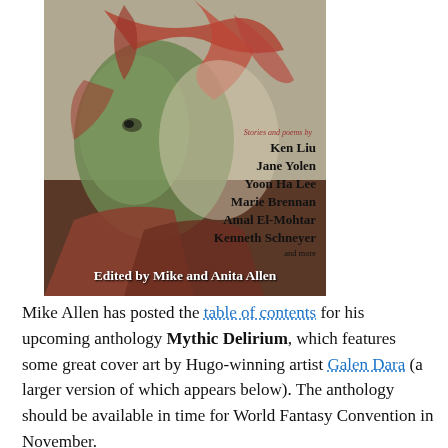[Figure (illustration): Book cover for an anthology showing a fantastical green-skinned face with flowing reddish tendrils. Text on cover lists contributors: Ken Liu, Jane Yolen, Yoon Ha Lee, Marie Brennan, Amal El-Mohtar, Kenneth Schneyer and more. Bottom reads: Edited by Mike and Anita Allen.]
Mike Allen has posted the table of contents for his upcoming anthology Mythic Delirium, which features some great cover art by Hugo-winning artist Galen Dara (a larger version of which appears below). The anthology should be available in time for World Fantasy Convention in November.